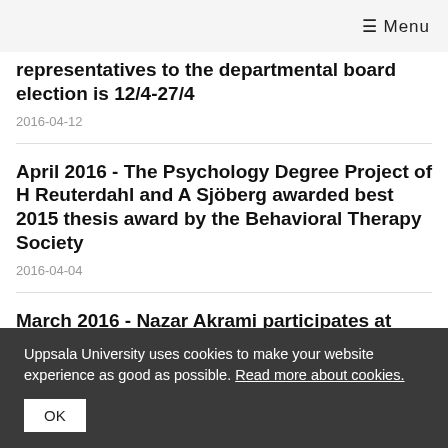≡ Menu
representatives to the departmental board election is 12/4-27/4
2016-04-12
April 2016 - The Psychology Degree Project of H Reuterdahl and A Sjöberg awarded best 2015 thesis award by the Behavioral Therapy Society
2016-04-04
March 2016 - Nazar Akrami participates at SciFest - the Science Festival
Uppsala University uses cookies to make your website experience as good as possible. Read more about cookies.